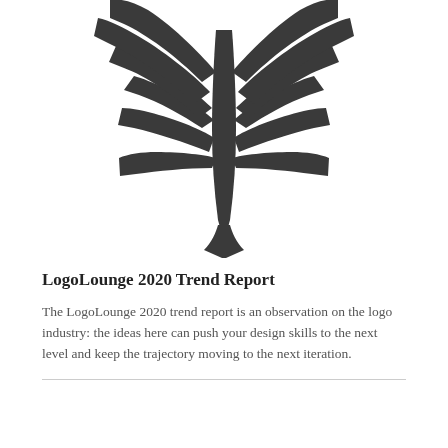[Figure (logo): Symmetrical abstract logo with radiating dark wing-like shapes forming a fan/bird design, in dark charcoal color]
LogoLounge 2020 Trend Report
The LogoLounge 2020 trend report is an observation on the logo industry: the ideas here can push your design skills to the next level and keep the trajectory moving to the next iteration.